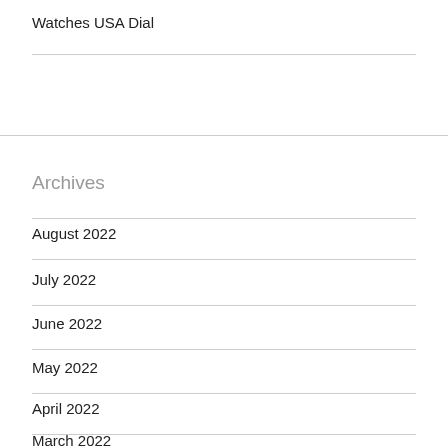Watches USA Dial
Archives
August 2022
July 2022
June 2022
May 2022
April 2022
March 2022